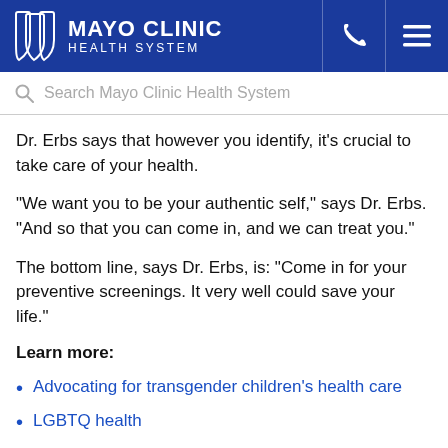MAYO CLINIC HEALTH SYSTEM
Search Mayo Clinic Health System
Dr. Erbs says that however you identify, it's crucial to take care of your health.
"We want you to be your authentic self," says Dr. Erbs. "And so that you can come in, and we can treat you."
The bottom line, says Dr. Erbs, is: "Come in for your preventive screenings. It very well could save your life."
Learn more:
Advocating for transgender children's health care
LGBTQ health
Health concerns for transgender people